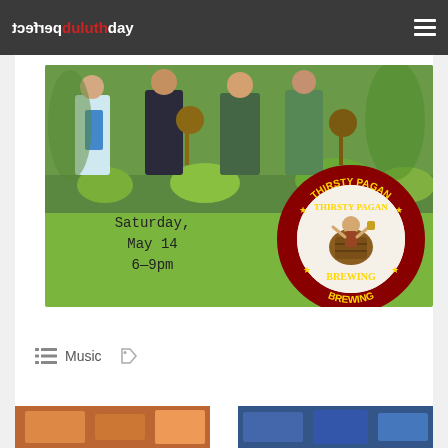perfect duluthday
[Figure (photo): Event flyer on green background showing a band photo at top and Thirsty Pagan Brewing logo circle, with handwritten-style text reading Saturday, May 14 6-9pm]
Music
[Figure (photo): Thumbnail image on bottom left, orange/warm tones]
[Figure (photo): Thumbnail image on bottom right, blue tones]